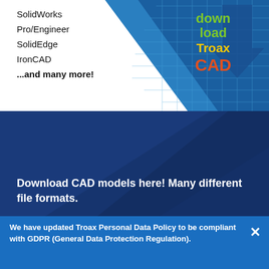[Figure (illustration): Download Troax CAD banner with blue/white diagonal design showing a CAD grid fence in the background on the right, and a green/orange/red 'download Troax CAD' text logo with a blue downward arrow.]
SolidWorks
Pro/Engineer
SolidEdge
IronCAD
...and many more!
Download CAD models here! Many different file formats.
OFFICE
PROFESSOR BIRKELANDS VEI 26 B /
We have updated Troax Personal Data Policy to be compliant with GDPR (General Data Protection Regulation).